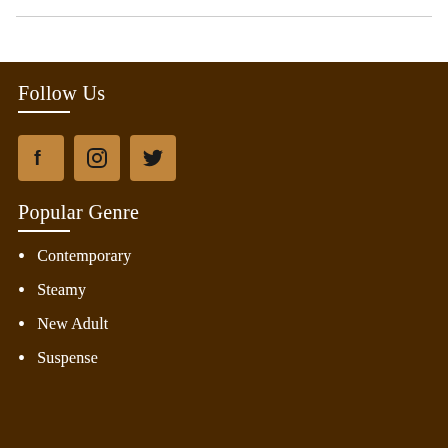Follow Us
[Figure (infographic): Three social media icons: Facebook, Instagram, Twitter, displayed as square buttons with brown background]
Popular Genre
Contemporary
Steamy
New Adult
Suspense